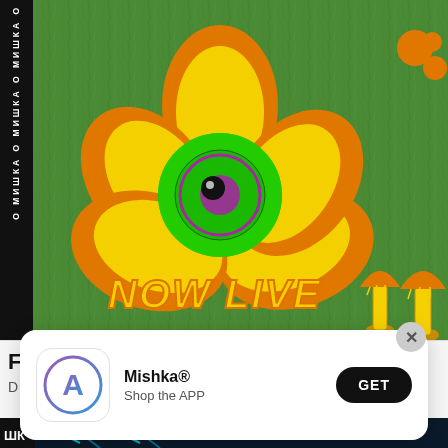[Figure (illustration): Mishka brand promotional image showing a large orange and yellow psychedelic flower with an eyeball center on grass background, with vertical MISHKA text strip on left, NOW LIVE text at bottom, and mushrooms on right side.]
F
D
[Figure (logo): App Store icon for Mishka app showing stylized A letter in purple/blue gradient circle]
Mishka®
Shop the APP
GET